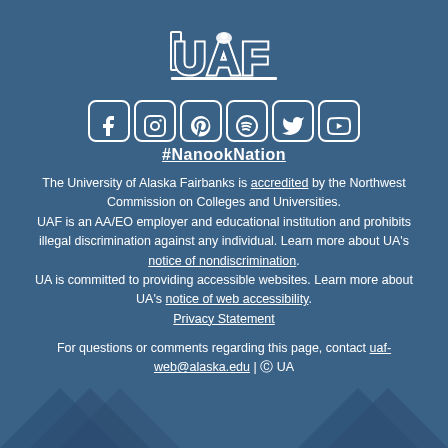[Figure (logo): UAF (University of Alaska Fairbanks) logo with polar bear silhouette, bold blue letters UAF with white outline]
[Figure (infographic): Six social media icons in rounded square outlines: Facebook, Instagram, Pinterest, Spotify, Twitter, YouTube]
#NanookNation
The University of Alaska Fairbanks is accredited by the Northwest Commission on Colleges and Universities. UAF is an AA/EO employer and educational institution and prohibits illegal discrimination against any individual. Learn more about UA's notice of nondiscrimination. UA is committed to providing accessible websites. Learn more about UA's notice of web accessibility. Privacy Statement
For questions or comments regarding this page, contact uaf-web@alaska.edu | © UA